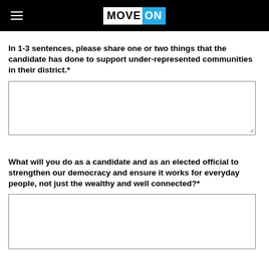MoveOn
In 1-3 sentences, please share one or two things that the candidate has done to support under-represented communities in their district.*
What will you do as a candidate and as an elected official to strengthen our democracy and ensure it works for everyday people, not just the wealthy and well connected?*